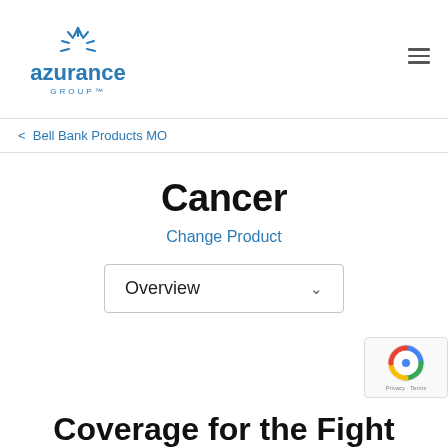[Figure (logo): Azurance Group logo — stylized starburst icon in blue above the text 'azurance' in blue bold lowercase, with 'GROUP™' in small caps below]
azurance GROUP™
< Bell Bank Products MO
Cancer
Change Product
Overview
Coverage for the Fight